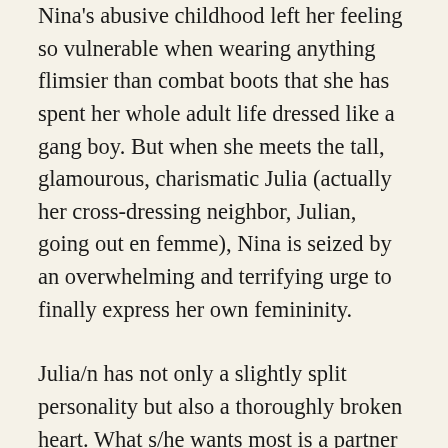Nina's abusive childhood left her feeling so vulnerable when wearing anything flimsier than combat boots that she has spent her whole adult life dressed like a gang boy. But when she meets the tall, glamourous, charismatic Julia (actually her cross-dressing neighbor, Julian, going out en femme), Nina is seized by an overwhelming and terrifying urge to finally express her own femininity.
Julia/n has not only a slightly split personality but also a thoroughly broken heart. What s/he wants most is a partner who will love both Julia and Julian. While Nina learns from Julia how to be a woman, Julian discovers that they might well be made for each other, but it will take a struggle against prejudice and a whole